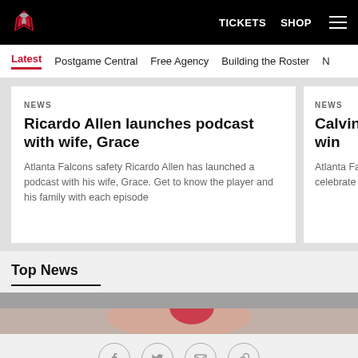Atlanta Falcons | TICKETS SHOP
Latest
Postgame Central
Free Agency
Building the Roster
NEWS
Ricardo Allen launches podcast with wife, Grace
Atlanta Falcons safety Ricardo Allen has launched a podcast with his wife, Grace. Get to know the player and his family with each episode
NEWS
Calvin Ri black gol win
Atlanta Falcor took time duri celebrate the h high school g
Top News
[Figure (photo): Partial photo of a hand/person, cropped at bottom of page]
Social share icons: Facebook, Twitter, Email, Link